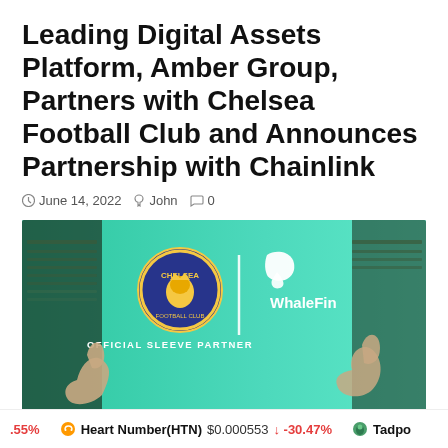Leading Digital Assets Platform, Amber Group, Partners with Chelsea Football Club and Announces Partnership with Chainlink
June 14, 2022  John  0
[Figure (photo): Promotional image showing Chelsea FC crest alongside WhaleFin logo on a teal/green background with stadium and raised hands. Text reads: WhaleFin OFFICIAL SLEEVE PARTNER]
.55%  Heart Number(HTN) $0.000553  -30.47%  Tadpo